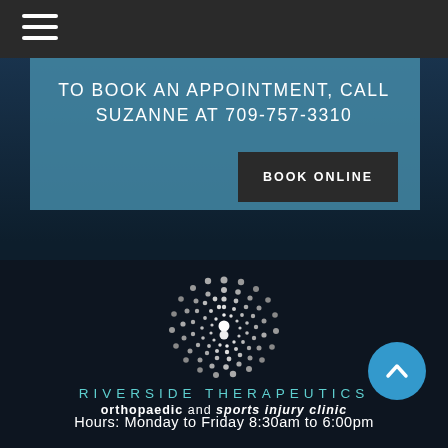[Figure (screenshot): Dark top navigation bar with hamburger menu icon (three white horizontal lines)]
TO BOOK AN APPOINTMENT, CALL SUZANNE AT 709-757-3310
BOOK ONLINE
[Figure (logo): Riverside Therapeutics logo: circular dot-matrix spiral pattern in white/grey, with text RIVERSIDE THERAPEUTICS orthopaedic and sports injury clinic]
Hours: Monday to Friday 8:30am to 6:00pm